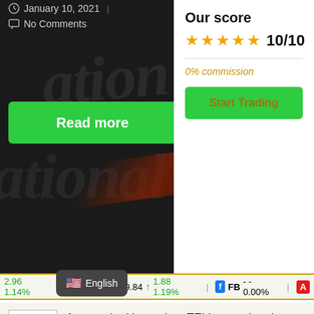January 10, 2021
No Comments
Read more
Our score
★★★★★ 10/10
0% commission
Start Trading
2.96 1.14%   AAPL $159.84 ↑ 1.88 1.19%   FB - - 0.00%   A
[Figure (logo): TFI International logo - small red and white logo with TFI text]
Are you looking to buy TFI International stocks? Chech our Reportlab with an in-view, check prices, statistics and ying this stock is interesting right
English